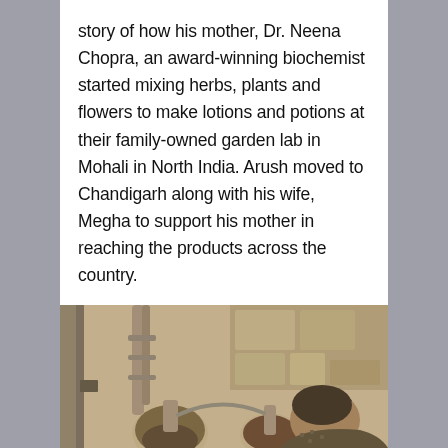story of how his mother, Dr. Neena Chopra, an award-winning biochemist started mixing herbs, plants and flowers to make lotions and potions at their family-owned garden lab in Mohali in North India. Arush moved to Chandigarh along with his wife, Megha to support his mother in reaching the products across the country.
[Figure (photo): Sepia-toned vintage photograph of a person (likely Dr. Neena Chopra) working in a laboratory, leaning over lab equipment including glass flasks and tubing/distillation apparatus, with shelving visible in the background.]